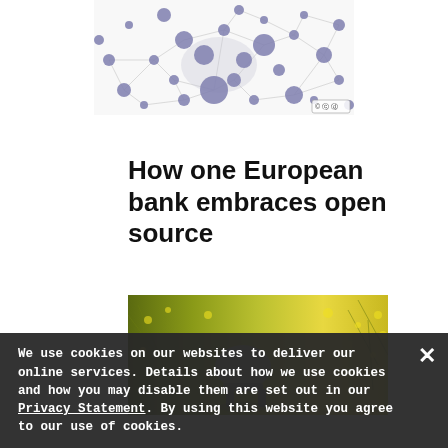[Figure (network-graph): Network graph with blue nodes of varying sizes connected by thin grey lines on white background, with a CC license badge in bottom right corner]
How one European bank embraces open source
[Figure (photo): A grey chair surrounded by yellow-green flowering plants/meadow, artistic photograph with golden tones]
We use cookies on our websites to deliver our online services. Details about how we use cookies and how you may disable them are set out in our Privacy Statement. By using this website you agree to our use of cookies.